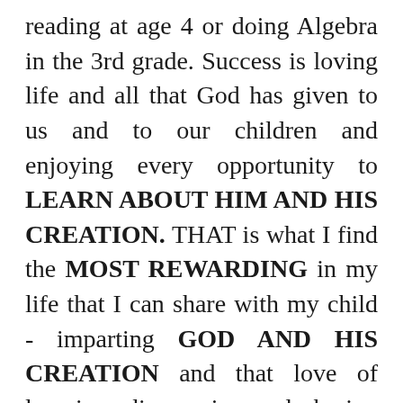reading at age 4 or doing Algebra in the 3rd grade. Success is loving life and all that God has given to us and to our children and enjoying every opportunity to LEARN ABOUT HIM AND HIS CREATION. THAT is what I find the MOST REWARDING in my life that I can share with my child - imparting GOD AND HIS CREATION and that love of learning, discovering and sharing in it WITH GOD. How marvelous this gift is from God that we have to be parents to "co-parent" with God in this way!!!